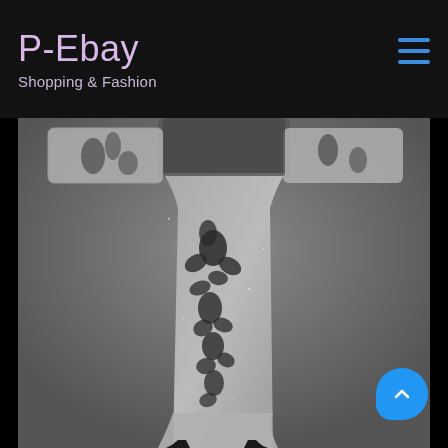P-Ebay
Shopping & Fashion
[Figure (photo): Fashion runway photo showing a model wearing a grey floral lace embroidered wide-leg pants or skirt with long sleeves, floral black appliqué pattern running down the leg. Model photographed from mid-torso down against a grey studio background. Black and white/grey toned image.]
[Figure (other): Blue scroll-to-top circular button with upward chevron arrow in bottom right corner]